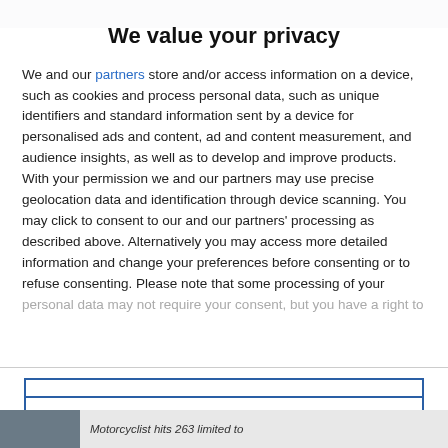We value your privacy
We and our partners store and/or access information on a device, such as cookies and process personal data, such as unique identifiers and standard information sent by a device for personalised ads and content, ad and content measurement, and audience insights, as well as to develop and improve products. With your permission we and our partners may use precise geolocation data and identification through device scanning. You may click to consent to our and our partners' processing as described above. Alternatively you may access more detailed information and change your preferences before consenting or to refuse consenting. Please note that some processing of your personal data may not require your consent, but you have a right to
AGREE
MORE OPTIONS
Motorcyclist hits 263 limited to